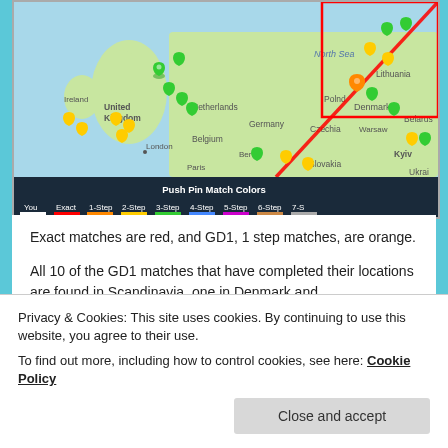[Figure (map): Map of Europe showing push pin markers in various colors (green, yellow, orange) indicating DNA match locations. Red diagonal line crosses the map. Red rectangle highlights Scandinavia/Denmark/Lithuania region. Legend at bottom shows Push Pin Match Colors: You (white), Exact (red), 1-Step (orange), 2-Step (yellow), 3-Step (green), 4-Step (blue), 5-Step (magenta), 6-Step (tan), 7-S (gray).]
Exact matches are red, and GD1, 1 step matches, are orange.
All 10 of the GD1 matches that have completed their locations are found in Scandinavia, one in Denmark and
Privacy & Cookies: This site uses cookies. By continuing to use this website, you agree to their use.
To find out more, including how to control cookies, see here: Cookie Policy